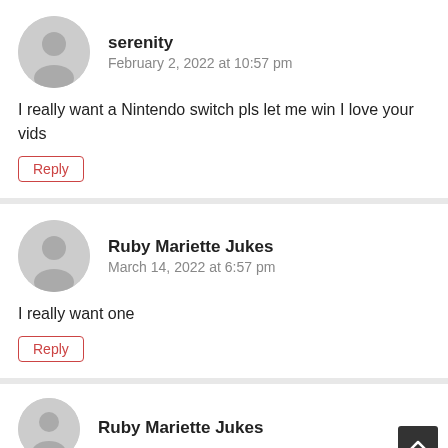serenity
February 2, 2022 at 10:57 pm
I really want a Nintendo switch pls let me win I love your vids
Reply
Ruby Mariette Jukes
March 14, 2022 at 6:57 pm
I really want one
Reply
Ruby Mariette Jukes